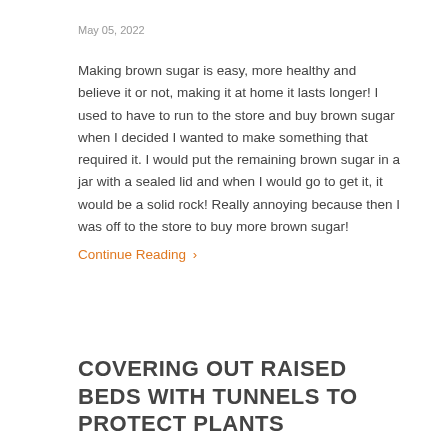May 05, 2022
Making brown sugar is easy, more healthy and believe it or not, making it at home it lasts longer! I used to have to run to the store and buy brown sugar when I decided I wanted to make something that required it. I would put the remaining brown sugar in a jar with a sealed lid and when I would go to get it, it would be a solid rock! Really annoying because then I was off to the store to buy more brown sugar!
Continue Reading ›
COVERING OUT RAISED BEDS WITH TUNNELS TO PROTECT PLANTS